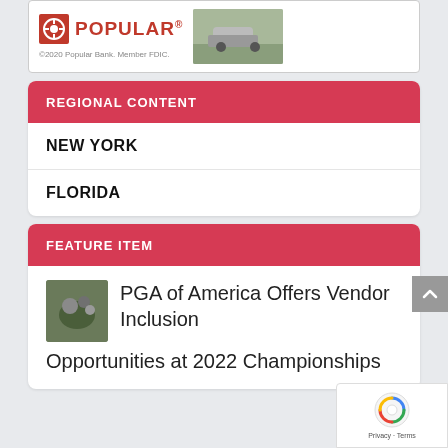[Figure (logo): Popular Bank advertisement with logo and car photo]
REGIONAL CONTENT
NEW YORK
FLORIDA
FEATURE ITEM
PGA of America Offers Vendor Inclusion Opportunities at 2022 Championships